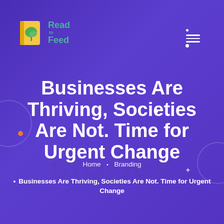[Figure (logo): Read to Feed logo with book and leaf icon in yellow/green, with teal text]
Businesses Are Thriving, Societies Are Not. Time for Urgent Change
Home • Branding
• Businesses Are Thriving, Societies Are Not. Time for Urgent Change